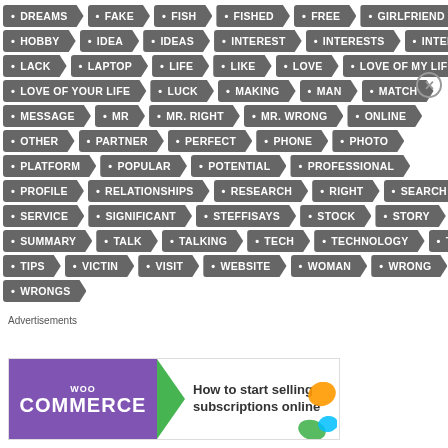[Figure (infographic): Tag cloud of keywords in arrow/chevron shapes on grey background: DREAMS, FAKE, FISH, FISHED, FREE, GIRLFRIEND, HOBBY, IDEA, IDEAS, INTEREST, INTERESTS, INTERNET, LACK, LAPTOP, LIFE, LIKE, LOVE, LOVE OF MY LIFE, LOVE OF YOUR LIFE, LUCK, MAKING, MAN, MATCH, MESSAGE, MR, MR. RIGHT, MR. WRONG, ONLINE, OTHER, PARTNER, PERFECT, PHONE, PHOTO, PLATFORM, POPULAR, POTENTIAL, PROFESSIONAL, PROFILE, RELATIONSHIPS, RESEARCH, RIGHT, SEARCH, SERVICE, SIGNIFICANT, STEFFISAYS, STOCK, STORY, SUMMARY, TALK, TALKING, TECH, TECHNOLOGY, TIP, TIPS, VICTIN, VISIT, WEBSITE, WOMAN, WRONG, WRONGS]
Advertisements
[Figure (infographic): WooCommerce advertisement banner: 'How to start selling subscriptions online']